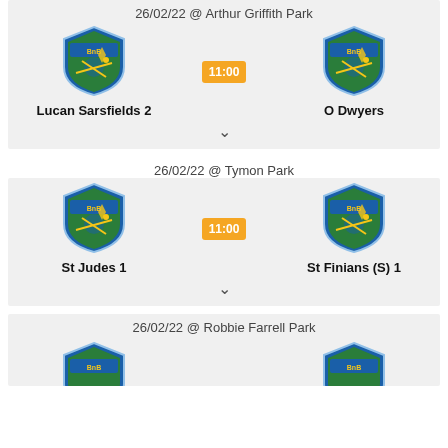26/02/22  @ Arthur Griffith Park
[Figure (logo): GAA club crest shield logo - blue and green with hurling imagery, Lucan Sarsfields]
[Figure (logo): GAA club crest shield logo - blue and green with hurling imagery, O Dwyers]
Lucan Sarsfields 2
11:00
O Dwyers
26/02/22  @ Tymon Park
[Figure (logo): GAA club crest shield logo - blue and green with hurling imagery, St Judes]
[Figure (logo): GAA club crest shield logo - blue and green with hurling imagery, St Finians]
St Judes 1
11:00
St Finians (S) 1
26/02/22  @ Robbie Farrell Park